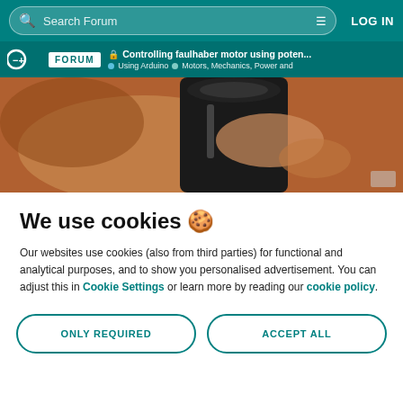Search Forum | LOG IN
🔒 Controlling faulhaber motor using poten... | Using Arduino | Motors, Mechanics, Power and
[Figure (photo): Close-up photo of a hand adjusting a small black potentiometer or motor component]
We use cookies 🍪
Our websites use cookies (also from third parties) for functional and analytical purposes, and to show you personalised advertisement. You can adjust this in Cookie Settings or learn more by reading our cookie policy.
ONLY REQUIRED | ACCEPT ALL